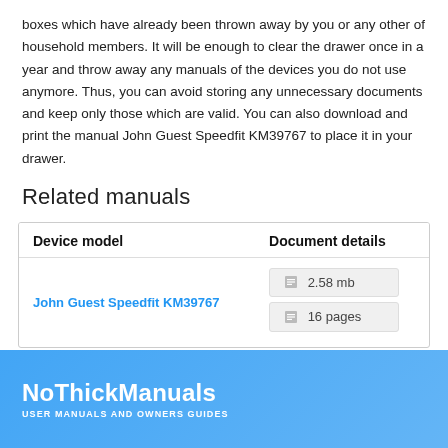boxes which have already been thrown away by you or any other of household members. It will be enough to clear the drawer once in a year and throw away any manuals of the devices you do not use anymore. Thus, you can avoid storing any unnecessary documents and keep only those which are valid. You can also download and print the manual John Guest Speedfit KM39767 to place it in your drawer.
Related manuals
| Device model | Document details |
| --- | --- |
| John Guest Speedfit KM39767 | 2.58 mb
16 pages |
NoThickManuals USER MANUALS AND OWNERS GUIDES